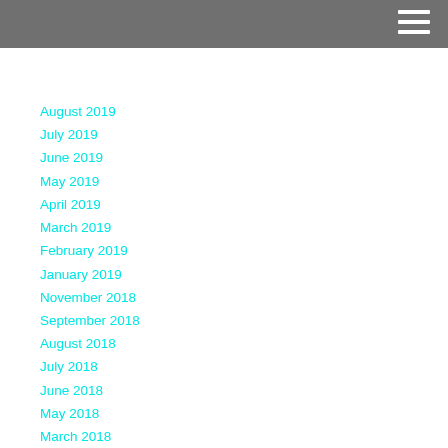August 2019
July 2019
June 2019
May 2019
April 2019
March 2019
February 2019
January 2019
November 2018
September 2018
August 2018
July 2018
June 2018
May 2018
March 2018
February 2018
January 2018
December 2017
November 2017
October 2017
September 2017
August 2017
July 2017
June 2017
May 2017
April 2017